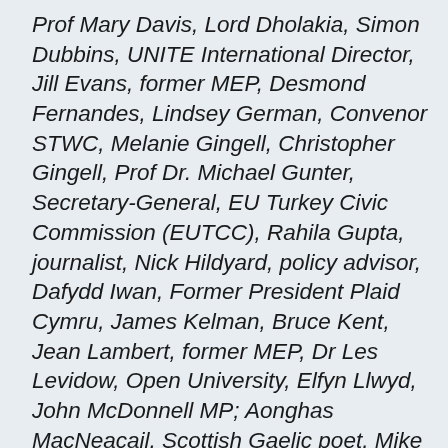Prof Mary Davis, Lord Dholakia, Simon Dubbins, UNITE International Director, Jill Evans, former MEP, Desmond Fernandes, Lindsey German, Convenor STWC, Melanie Gingell, Christopher Gingell, Prof Dr. Michael Gunter, Secretary-General, EU Turkey Civic Commission (EUTCC), Rahila Gupta, journalist, Nick Hildyard, policy advisor, Dafydd Iwan, Former President Plaid Cymru, James Kelman, Bruce Kent, Jean Lambert, former MEP, Dr Les Levidow, Open University, Elfyn Llwyd, John McDonnell MP; Aonghas MacNeacail, Scottish Gaelic poet, Mike Mansfield QC, David Morgan, journalist, Doug Nicholls, General Secretary, GFTU, Dr. Jessica Ayesha Northey, Sinn Fein MLA Conor Murphy, Dr